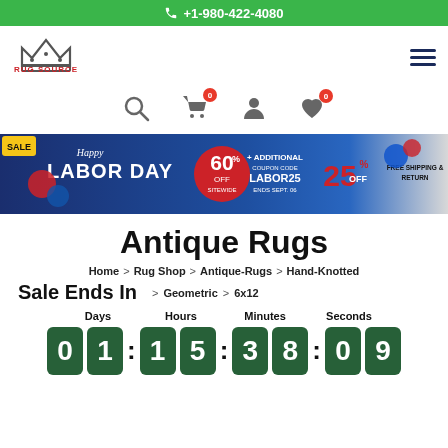+1-980-422-4080
[Figure (logo): Rug Source logo with crown icon and red text]
[Figure (infographic): Happy Labor Day SALE banner: 60% off sitewide + additional 25% off with coupon code LABOR25, ends Sept 06, free shipping and return]
Antique Rugs
Home > Rug Shop > Antique-Rugs > Hand-Knotted > Geometric > 6x12
Sale Ends In
Days: 01  Hours: 15  Minutes: 38  Seconds: 09